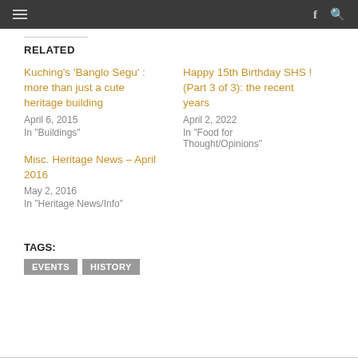≡  f 🔍
RELATED
Kuching's 'Banglo Segu' : more than just a cute heritage building
April 6, 2015
In "Buildings"
Happy 15th Birthday SHS ! (Part 3 of 3): the recent years
April 2, 2022
In "Food for Thought/Opinions"
Misc. Heritage News – April 2016
May 2, 2016
In "Heritage News/Info"
TAGS:
EVENTS  HISTORY